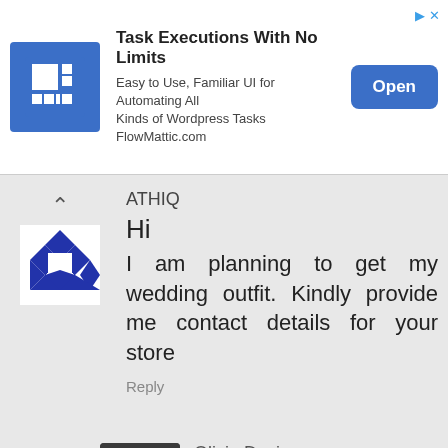[Figure (screenshot): Advertisement banner for FlowMattic - Task Executions With No Limits. Shows a blue square icon with a grid/form symbol, ad title, subtitle, and an Open button.]
ATHIQ
Hi
I am planning to get my wedding outfit. Kindly provide me contact details for your store
Reply
Olivia Davis
Hey there,
We are not selling these products, we just share ideas and inspiration.